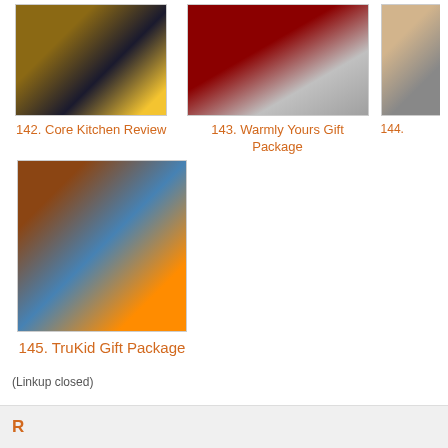[Figure (photo): Photo thumbnail for item 142 Core Kitchen Review]
142. Core Kitchen Review
[Figure (photo): Photo thumbnail for item 143 Warmly Yours Gift Package showing red fabric/towel]
143. Warmly Yours Gift Package
[Figure (photo): Partial photo thumbnail for item 144]
[Figure (photo): Photo thumbnail for item 145 TruKid Gift Package showing bubble body wash and sunny days products]
145. TruKid Gift Package
(Linkup closed)